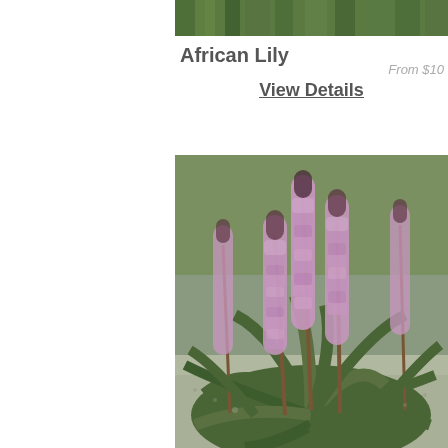[Figure (photo): Top portion of a plant photo, showing green foliage/leaves against a green background]
African Lily
From $10
View Details
[Figure (photo): Photo of African Lily plant (Eucomis or similar) with tall spikes of pink/lavender flowers rising from a rosette of strap-like green leaves, set against a gravel and green foliage background]